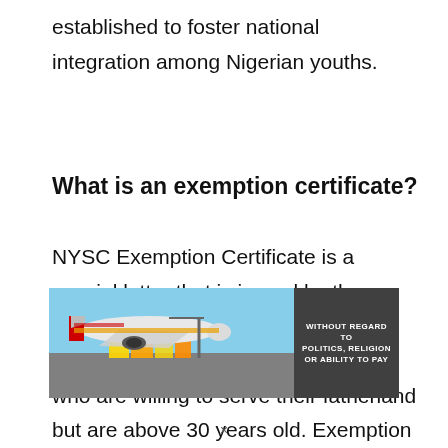established to foster national integration among Nigerian youths.
What is an exemption certificate?
NYSC Exemption Certificate is a special letter that is issued by the management of the National Youth Service Corps to Nigerian graduates who are willing to serve their fatherland but are above 30 years old. Exemption certificate carries the seal of the NYSC and shows that you're above 30
[Figure (photo): Advertisement banner showing an airplane being loaded with cargo, with text overlay reading 'WITHOUT REGARD TO POLITICS, RELIGION OR ABILITY TO PAY']
×